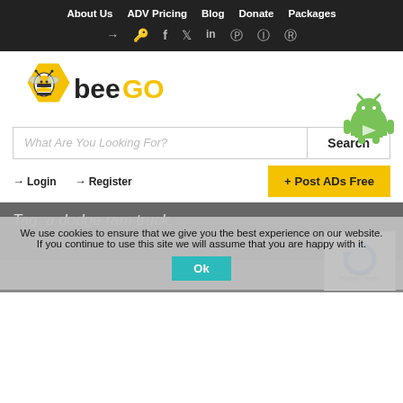About Us  ADV Pricing  Blog  Donate  Packages
Social icons: login, key, facebook, twitter, linkedin, pinterest, instagram, reddit
[Figure (logo): BeeGo logo with yellow hexagon bee icon and text 'beeGO' where GO is in yellow]
What Are You Looking For?   Search
→ Login   → Register   + Post ADs Free
Tag: a dodge ram truck
We use cookies to ensure that we give you the best experience on our website. If you continue to use this site we will assume that you are happy with it.
Ok